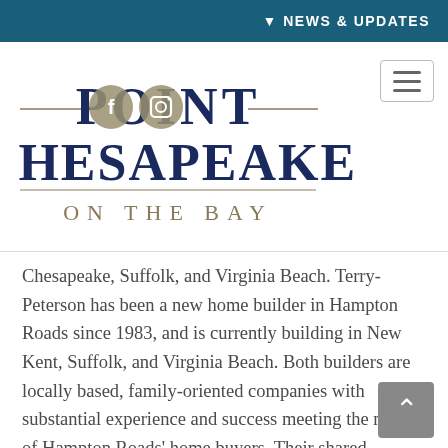▼ NEWS & UPDATES
[Figure (logo): Point Chesapeake on the Bay logo with social media icons (Facebook, Instagram)]
Chesapeake, Suffolk, and Virginia Beach. Terry-Peterson has been a new home builder in Hampton Roads since 1983, and is currently building in New Kent, Suffolk, and Virginia Beach. Both builders are locally based, family-oriented companies with substantial experience and success meeting the needs of Hampton Roads' home buyers. Their shared abilities to deliver high quality homes with innovative architecture and technology will lead to great success for Point Chesapeake on the Bay.